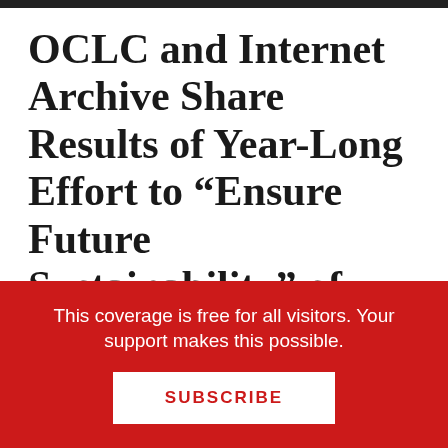OCLC and Internet Archive Share Results of Year-Long Effort to “Ensure Future Sustainability” of PURL.org
September 27, 2016 by Gary Price
From OCLC:
This coverage is free for all visitors. Your support makes this possible.
SUBSCRIBE